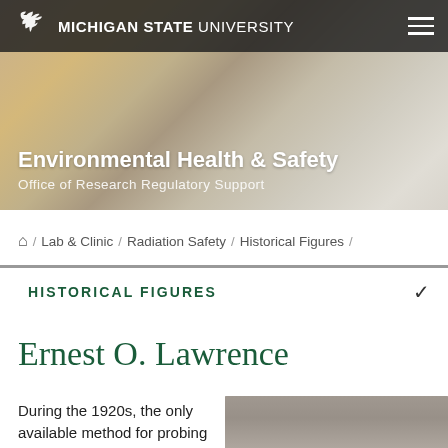MICHIGAN STATE UNIVERSITY
Environmental Health & Safety
Office of Research Regulatory Support
Home / Lab & Clinic / Radiation Safety / Historical Figures /
HISTORICAL FIGURES
Ernest O. Lawrence
During the 1920s, the only available method for probing
[Figure (photo): Black and white portrait photograph of Ernest O. Lawrence]